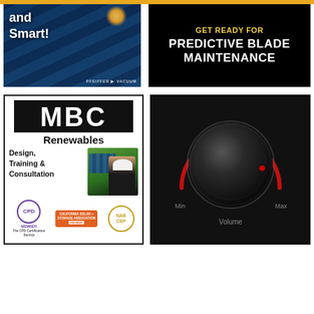[Figure (illustration): Solar panel advertisement with text 'and Smart!' and Pfeiffer Vacuum branding on blue/dark background]
[Figure (illustration): Black background ad with yellow text 'GET READY FOR PREDICTIVE BLADE MAINTENANCE']
[Figure (illustration): MBC Renewables advertisement showing logo, 'Design, Training & Consultation', person with hard hat and solar panels, CPD Member, California Solar + Storage Association, and NABCEP badges]
[Figure (illustration): Black background with a volume knob dial showing Min and Max labels, red arc indicator, and 'Volume' text below]